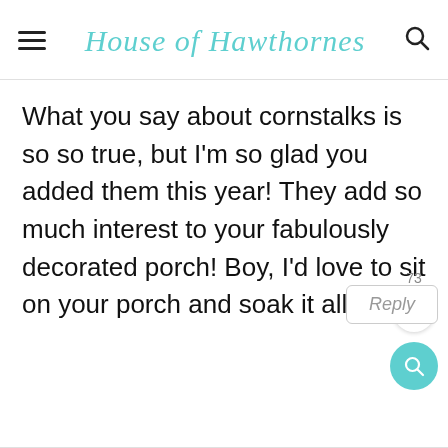House of Hawthornes
What you say about cornstalks is so so true, but I'm so glad you added them this year! They add so much interest to your fabulously decorated porch! Boy, I'd love to sit on your porch and soak it all in!